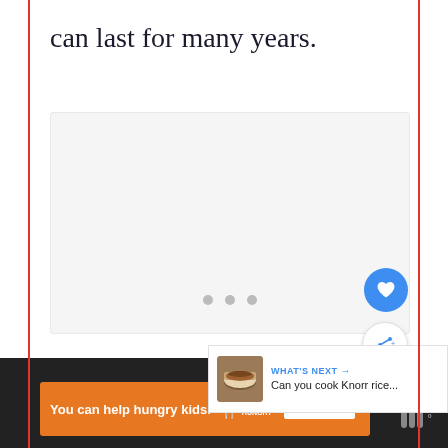can last for many years.
[Figure (photo): A media card/slideshow area with navigation dots, likely containing an embedded video or image slideshow about the topic. Three pagination dots are visible at the bottom.]
[Figure (photo): A 'What's Next' recommendation card showing a thumbnail of a food dish (appears to be Knorr rice in a bowl) with the label 'WHAT'S NEXT' and text 'Can you cook Knorr rice...']
WHAT'S NEXT → Can you cook Knorr rice...
You can help hungry kids. NO KID HUNGRY LEARN HOW